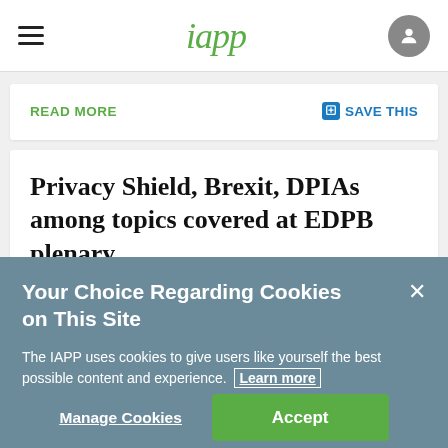iapp
READ MORE
SAVE THIS
Privacy Shield, Brexit, DPIAs among topics covered at EDPB plenary
The European Data Protection Board gathered in
Your Choice Regarding Cookies on This Site
The IAPP uses cookies to give users like yourself the best possible content and experience. Learn more
Manage Cookies
Accept